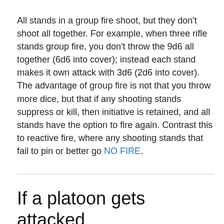All stands in a group fire shoot, but they don't shoot all together. For example, when three rifle stands group fire, you don't throw the 9d6 all together (6d6 into cover); instead each stand makes it own attack with 3d6 (2d6 into cover). The advantage of group fire is not that you throw more dice, but that if any shooting stands suppress or kill, then initiative is retained, and all stands have the option to fire again. Contrast this to reactive fire, where any shooting stands that fail to pin or better go NO FIRE.
If a platoon gets attacked